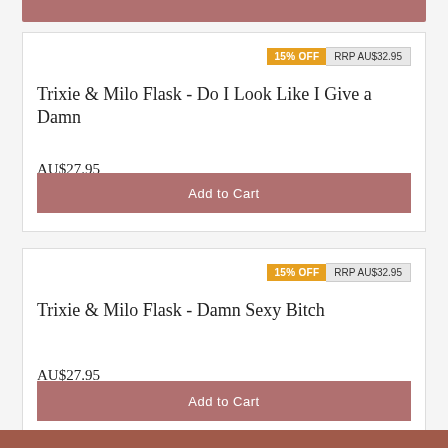15% OFF  RRP AU$32.95
Trixie & Milo Flask - Do I Look Like I Give a Damn
AU$27.95
Add to Cart
15% OFF  RRP AU$32.95
Trixie & Milo Flask - Damn Sexy Bitch
AU$27.95
Add to Cart